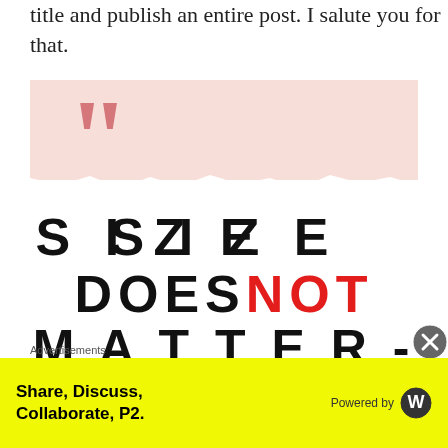title and publish an entire post. I salute you for that.
[Figure (illustration): Motivational quote image with pink background, large pink open-quote marks in top left, and bold text reading 'SIZE DOESNOT MATTER-' where NOT is in red]
Advertisements
Share, Discuss, Collaborate, P2. Powered by WordPress